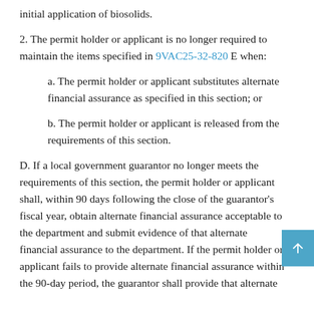initial application of biosolids.
2. The permit holder or applicant is no longer required to maintain the items specified in 9VAC25-32-820 E when:
a. The permit holder or applicant substitutes alternate financial assurance as specified in this section; or
b. The permit holder or applicant is released from the requirements of this section.
D. If a local government guarantor no longer meets the requirements of this section, the permit holder or applicant shall, within 90 days following the close of the guarantor's fiscal year, obtain alternate financial assurance acceptable to the department and submit evidence of that alternate financial assurance to the department. If the permit holder or applicant fails to provide alternate financial assurance within the 90-day period, the guarantor shall provide that alternate